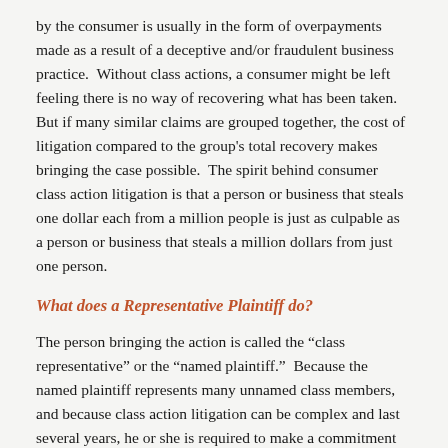by the consumer is usually in the form of overpayments made as a result of a deceptive and/or fraudulent business practice.  Without class actions, a consumer might be left feeling there is no way of recovering what has been taken.  But if many similar claims are grouped together, the cost of litigation compared to the group's total recovery makes bringing the case possible.  The spirit behind consumer class action litigation is that a person or business that steals one dollar each from a million people is just as culpable as a person or business that steals a million dollars from just one person.
What does a Representative Plaintiff do?
The person bringing the action is called the “class representative” or the “named plaintiff.”  Because the named plaintiff represents many unnamed class members, and because class action litigation can be complex and last several years, he or she is required to make a commitment to help all the other class members.  These responsibilities to the class members must be honored